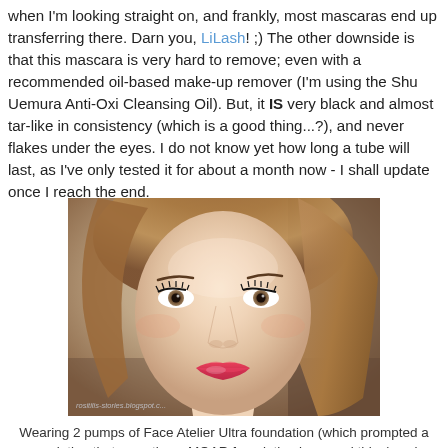when I'm looking straight on, and frankly, most mascaras end up transferring there. Darn you, LiLash! ;) The other downside is that this mascara is very hard to remove; even with a recommended oil-based make-up remover (I'm using the Shu Uemura Anti-Oxi Cleansing Oil). But, it IS very black and almost tar-like in consistency (which is a good thing...?), and never flakes under the eyes. I do not know yet how long a tube will last, as I've only tested it for about a month now - I shall update once I reach the end.
[Figure (photo): Close-up portrait of a woman with long brown hair, wearing mascara, brown eye makeup, and bright pink/red lipstick. She has prominent lashes and a fair complexion. Watermark text visible at bottom left of image.]
Wearing 2 pumps of Face Atelier Ultra foundation (which prompted a revelation that sometimes MOAR foundation is a good thing) and Inglot Gel Lipstick no. 58